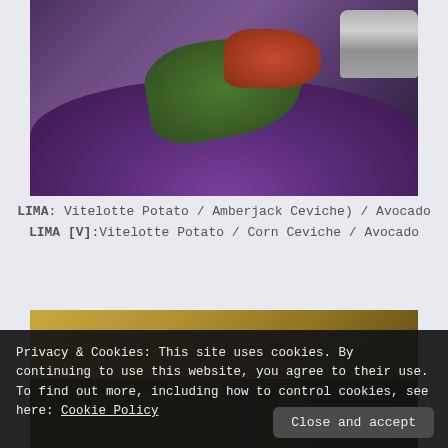[Figure (photo): Close-up food photo of a silver spoon or small bowl containing purple/violet mashed potato base topped with fresh green herbs, red tomato pieces, and garnished with leaves. Metal handle visible on right side. Dark moody background.]
LIMA: Vitelotte Potato / Amberjack Ceviche) / Avocado
LIMA [V]:Vitelotte Potato / Corn Ceviche / Avocado
[Figure (photo): Partial food photograph with golden/brown tones visible at top, showing another dish at bottom of page, partially obscured by cookie consent banner.]
Privacy & Cookies: This site uses cookies. By continuing to use this website, you agree to their use.
To find out more, including how to control cookies, see here: Cookie Policy
Close and accept